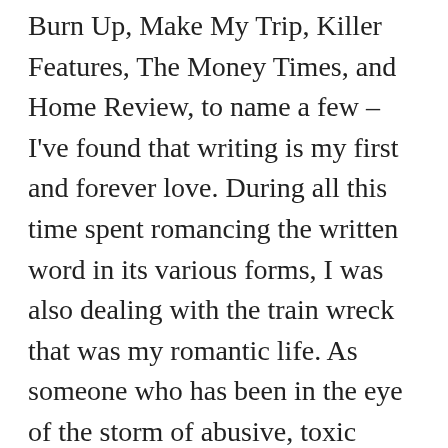Burn Up, Make My Trip, Killer Features, The Money Times, and Home Review, to name a few – I've found that writing is my first and forever love. During all this time spent romancing the written word in its various forms, I was also dealing with the train wreck that was my romantic life. As someone who has been in the eye of the storm of abusive, toxic relationships before discovering what love in its healthiest form feels like and navigating mental health issues like PTSD and GAD, learning to connect the dots between emotions, behavior patterns, adult relationships and childhood experiences has been a